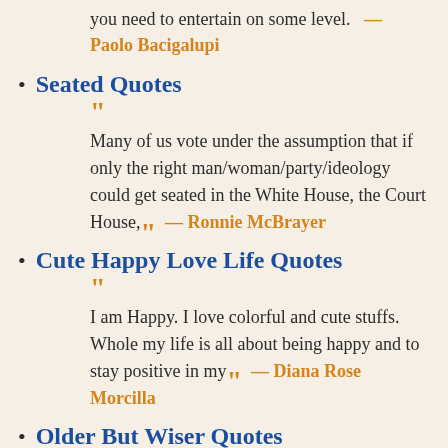you need to entertain on some level. — Paolo Bacigalupi
Seated Quotes
“Many of us vote under the assumption that if only the right man/woman/party/ideology could get seated in the White House, the Court House,” — Ronnie McBrayer
Cute Happy Love Life Quotes
“I am Happy. I love colorful and cute stuffs. Whole my life is all about being happy and to stay positive in my” — Diana Rose Morcilla
Older But Wiser Quotes